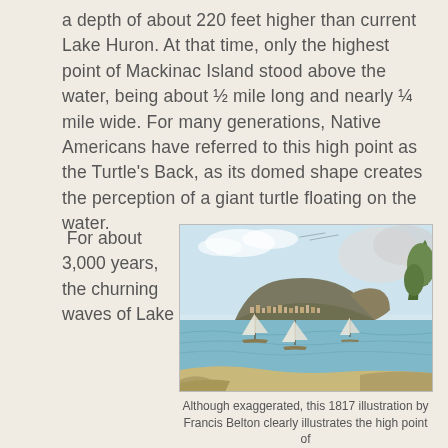a depth of about 220 feet higher than current Lake Huron. At that time, only the highest point of Mackinac Island stood above the water, being about ½ mile long and nearly ¼ mile wide. For many generations, Native Americans have referred to this high point as the Turtle's Back, as its domed shape creates the perception of a giant turtle floating on the water.
For about 3,000 years, the churning waves of Lake
[Figure (illustration): A watercolor illustration from 1817 showing Mackinac Island from the water, with sailboats in the foreground and the elevated rocky island in the background.]
Although exaggerated, this 1817 illustration by Francis Belton clearly illustrates the high point of